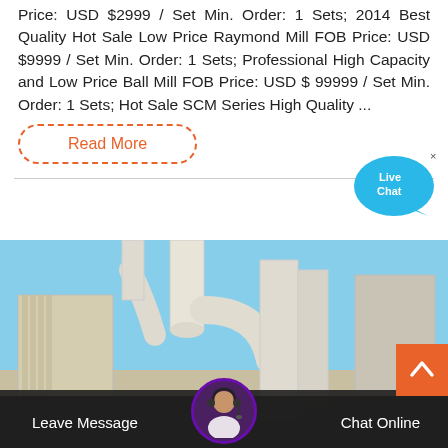Price: USD $2999 / Set Min. Order: 1 Sets; 2014 Best Quality Hot Sale Low Price Raymond Mill FOB Price: USD $9999 / Set Min. Order: 1 Sets; Professional High Capacity and Low Price Ball Mill FOB Price: USD $ 99999 / Set Min. Order: 1 Sets; Hot Sale SCM Series High Quality ...
Read More
[Figure (photo): Industrial milling equipment with large cylindrical ducts and silos against a blue sky]
Leave Message
Chat Online